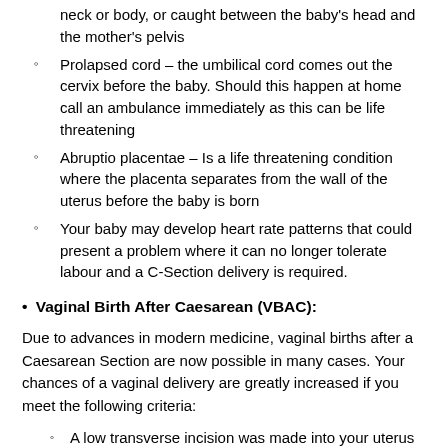neck or body, or caught between the baby's head and the mother's pelvis
Prolapsed cord – the umbilical cord comes out the cervix before the baby. Should this happen at home call an ambulance immediately as this can be life threatening
Abruptio placentae – Is a life threatening condition where the placenta separates from the wall of the uterus before the baby is born
Your baby may develop heart rate patterns that could present a problem where it can no longer tolerate labour and a C-Section delivery is required.
Vaginal Birth After Caesarean (VBAC):
Due to advances in modern medicine, vaginal births after a Caesarean Section are now possible in many cases. Your chances of a vaginal delivery are greatly increased if you meet the following criteria:
A low transverse incision was made into your uterus during your C-Section